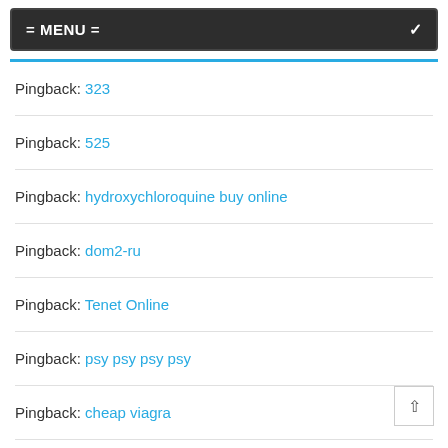= MENU =
Pingback: 323
Pingback: 525
Pingback: hydroxychloroquine buy online
Pingback: dom2-ru
Pingback: Tenet Online
Pingback: psy psy psy psy
Pingback: cheap viagra